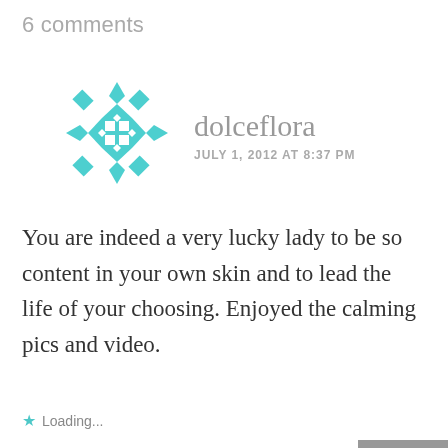6 comments
[Figure (illustration): Teal decorative circular avatar icon with geometric diamond and square pattern resembling a snowflake/mandala]
dolceflora
JULY 1, 2012 AT 8:37 PM
You are indeed a very lucky lady to be so content in your own skin and to lead the life of your choosing. Enjoyed the calming pics and video.
★ Loading...